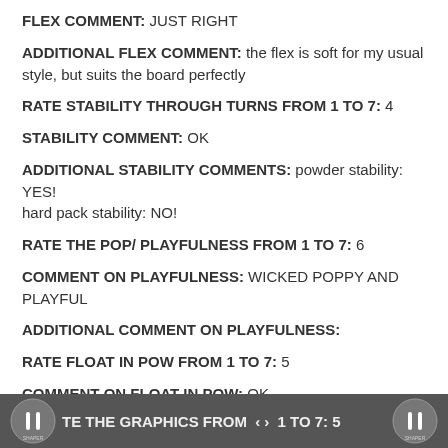FLEX COMMENT: JUST RIGHT
ADDITIONAL FLEX COMMENT: the flex is soft for my usual style, but suits the board perfectly
RATE STABILITY THROUGH TURNS FROM 1 TO 7: 4
STABILITY COMMENT: OK
ADDITIONAL STABILITY COMMENTS: powder stability: YES! hard pack stability: NO!
RATE THE POP/ PLAYFULNESS FROM 1 TO 7: 6
COMMENT ON PLAYFULNESS: WICKED POPPY AND PLAYFUL
ADDITIONAL COMMENT ON PLAYFULNESS:
RATE FLOAT IN POW FROM 1 TO 7: 5
COMMENT ON FLOAT IN POW: OK
ADDITIONAL COMMENT ON FLOAT IN POW: Sometimes the nose almost seemed too big and my tail sank way more than I would of liked.
TE THE GRAPHICS FROM 1 TO 7: 5